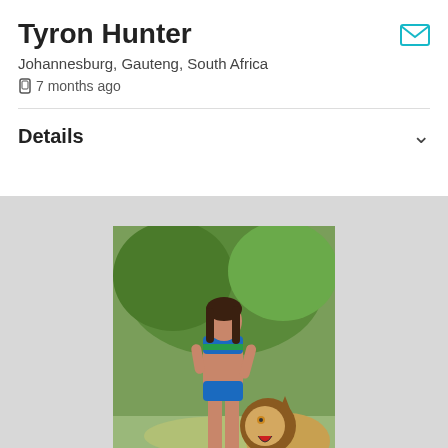Tyron Hunter
Johannesburg, Gauteng, South Africa
7 months ago
Details
[Figure (photo): A woman in a South African flag-themed bikini standing outdoors next to a lion, with green trees in the background.]